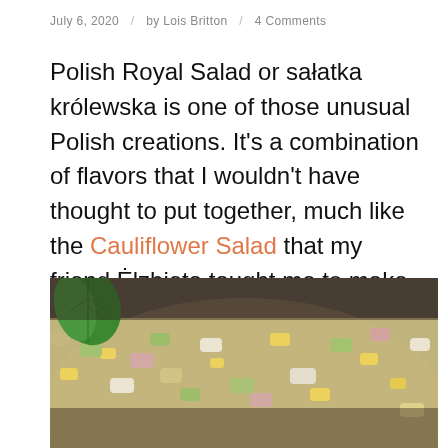July 6, 2020 / by Lois Britton / 4 Comments
Polish Royal Salad or sałatka królewska is one of those unusual Polish creations. It's a combination of flavors that I wouldn't have thought to put together, much like the Cauliflower Salad that my friend Ėlzbieta taught me to make.
[Figure (photo): Close-up photo of Polish Royal Salad in a bowl, showing chopped vegetables including corn, celery, ham, and other ingredients mixed together, with a basil leaf garnish visible in the top left corner]